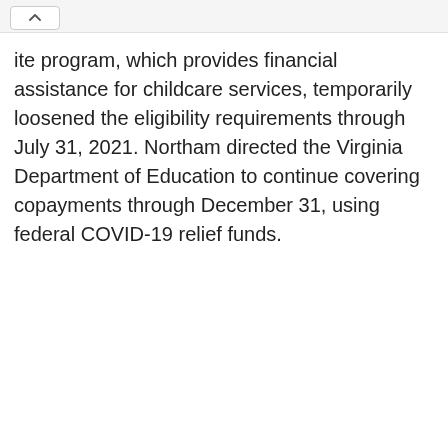ite program, which provides financial assistance for childcare services, temporarily loosened the eligibility requirements through July 31, 2021. Northam directed the Virginia Department of Education to continue covering copayments through December 31, using federal COVID-19 relief funds.